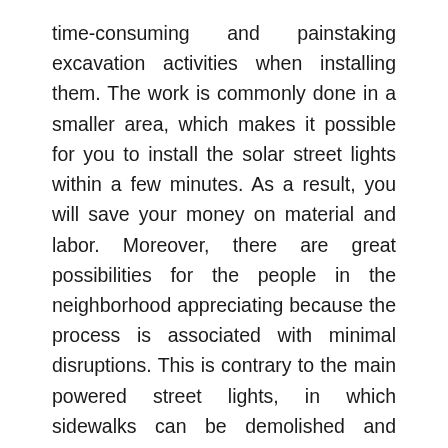time-consuming and painstaking excavation activities when installing them. The work is commonly done in a smaller area, which makes it possible for you to install the solar street lights within a few minutes. As a result, you will save your money on material and labor. Moreover, there are great possibilities for the people in the neighborhood appreciating because the process is associated with minimal disruptions. This is contrary to the main powered street lights, in which sidewalks can be demolished and remade when wires are being laid down and lamppost being erected.
When LED is incorporated, solar street lights are durable and environmentally friendly. In as much as solar lights are known for being